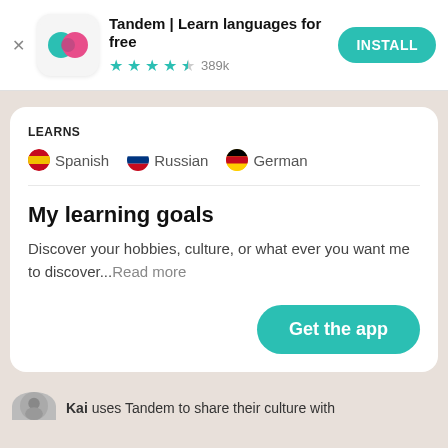[Figure (screenshot): Tandem app advertisement banner with logo icon, title 'Tandem | Learn languages for free', 4.5 star rating (389k reviews), and INSTALL button]
LEARNS
Spanish  Russian  German (with flag emoji icons)
My learning goals
Discover your hobbies, culture, or what ever you want me to discover...Read more
Get the app
Kai uses Tandem to share their culture with